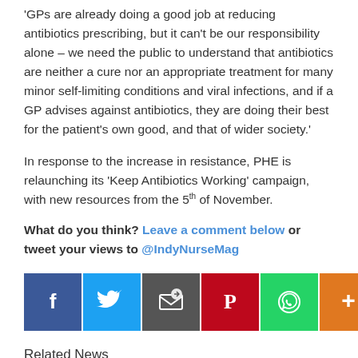'GPs are already doing a good job at reducing antibiotics prescribing, but it can't be our responsibility alone – we need the public to understand that antibiotics are neither a cure nor an appropriate treatment for many minor self-limiting conditions and viral infections, and if a GP advises against antibiotics, they are doing their best for the patient's own good, and that of wider society.'
In response to the increase in resistance, PHE is relaunching its 'Keep Antibiotics Working' campaign, with new resources from the 5th of November.
What do you think? Leave a comment below or tweet your views to @IndyNurseMag
[Figure (infographic): Social media share buttons row: Facebook (blue), Twitter (blue), email/share (dark), Pinterest (red), WhatsApp (green), More/+ (orange), count badge showing 2]
Related News